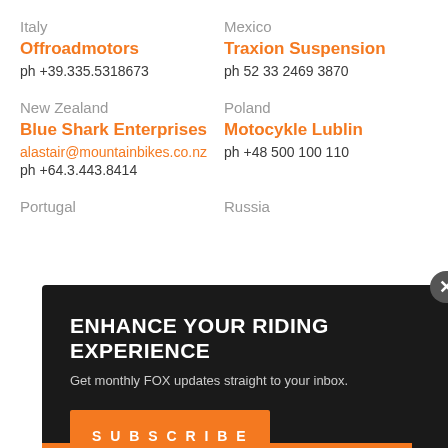Italy
Offroadmotors
ph +39.335.5318673
Mexico
Traxion Suspension
ph 52 33 2469 3870
New Zealand
Blue Shark Enterprises
alastair@mountainbikes.co.nz
ph +64.3.443.8414
Poland
Motocykle Lublin
ph +48 500 100 110
Portugal
Russia
[Figure (infographic): Modal popup overlay with dark background. Title: ENHANCE YOUR RIDING EXPERIENCE. Subtitle: Get monthly FOX updates straight to your inbox. Orange SUBSCRIBE button. Close X button in top right corner.]